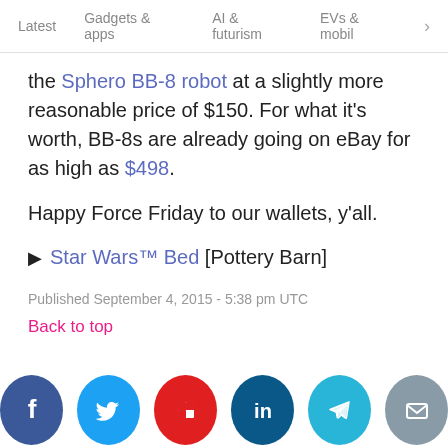Latest   Gadgets & apps   AI & futurism   EVs & mobil  >
the Sphero BB-8 robot at a slightly more reasonable price of $150. For what it's worth, BB-8s are already going on eBay for as high as $498.
Happy Force Friday to our wallets, y'all.
▶ Star Wars™ Bed [Pottery Barn]
Published September 4, 2015 - 5:38 pm UTC
Back to top
[Figure (infographic): Row of six social media share icons: Facebook (dark blue), Twitter (light blue), Flipboard (red), LinkedIn (dark teal), Telegram (cyan), Email (gray)]